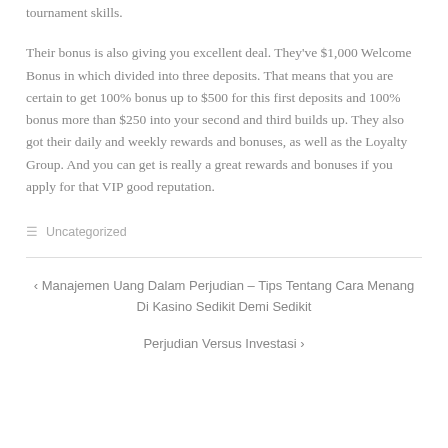tournament skills.
Their bonus is also giving you excellent deal. They've $1,000 Welcome Bonus in which divided into three deposits. That means that you are certain to get 100% bonus up to $500 for this first deposits and 100% bonus more than $250 into your second and third builds up. They also got their daily and weekly rewards and bonuses, as well as the Loyalty Group. And you can get is really a great rewards and bonuses if you apply for that VIP good reputation.
Uncategorized
‹ Manajemen Uang Dalam Perjudian – Tips Tentang Cara Menang Di Kasino Sedikit Demi Sedikit
Perjudian Versus Investasi ›